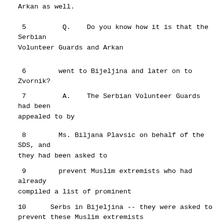Arkan as well.
5         Q.    Do you know how it is that the Serbian Volunteer Guards and Arkan
6        went to Bijeljina and later on to Zvornik?
7         A.    The Serbian Volunteer Guards had been appealed to by
8        Ms. Biljana Plavsic on behalf of the SDS, and they had been asked to
9        prevent Muslim extremists who had already compiled a list of prominent
10      Serbs in Bijeljina -- they were asked to prevent these Muslim extremists